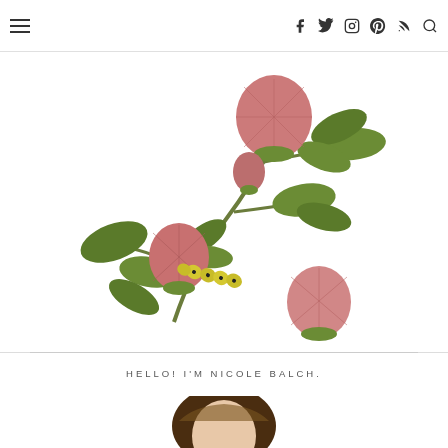Navigation bar with hamburger menu and social icons: Facebook, Twitter, Instagram, Pinterest, RSS, Search
[Figure (illustration): Botanical illustration of clover or protea-like pink flowers with green leaves and a yellow caterpillar on a white background]
HELLO! I'M NICOLE BALCH.
[Figure (photo): Portrait photo of Nicole Balch, a woman with brown hair, partially visible at the bottom of the page]